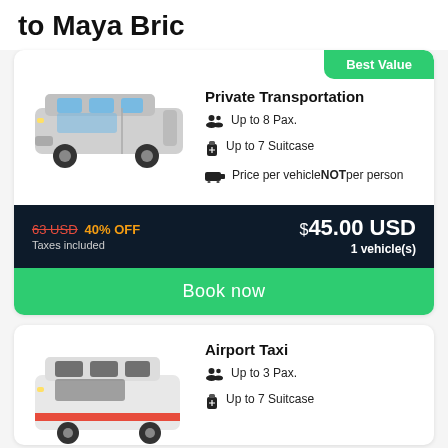to Maya Bric
Best Value
Private Transportation
Up to 8 Pax.
Up to 7 Suitcase
Price per vehicle NOT per person
63 USD  40% OFF  $45.00 USD  Taxes included  1 vehicle(s)
Book now
Airport Taxi
Up to 3 Pax.
Up to 7 Suitcase